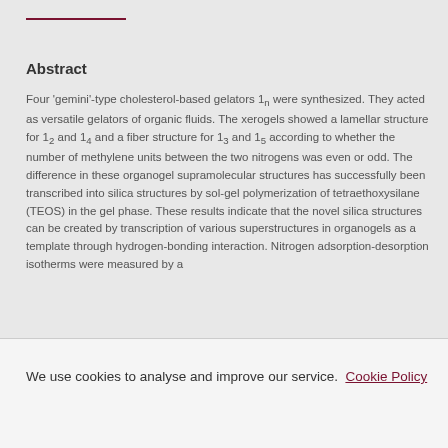Abstract
Four 'gemini'-type cholesterol-based gelators 1n were synthesized. They acted as versatile gelators of organic fluids. The xerogels showed a lamellar structure for 1₂ and 1₄ and a fiber structure for 1₃ and 1₅ according to whether the number of methylene units between the two nitrogens was even or odd. The difference in these organogel supramolecular structures has successfully been transcribed into silica structures by sol-gel polymerization of tetraethoxysilane (TEOS) in the gel phase. These results indicate that the novel silica structures can be created by transcription of various superstructures in organogels as a template through hydrogen-bonding interaction. Nitrogen adsorption-desorption isotherms were measured by a
We use cookies to analyse and improve our service. Cookie Policy